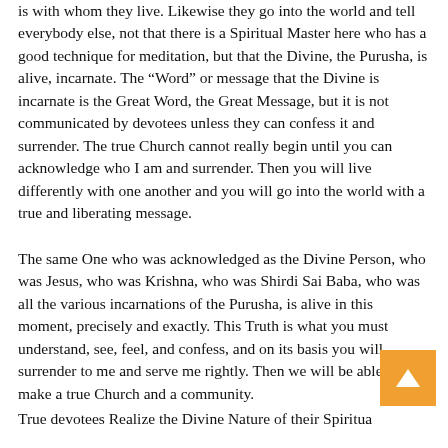is with whom they live. Likewise they go into the world and tell everybody else, not that there is a Spiritual Master here who has a good technique for meditation, but that the Divine, the Purusha, is alive, incarnate. The “Word” or message that the Divine is incarnate is the Great Word, the Great Message, but it is not communicated by devotees unless they can confess it and surrender. The true Church cannot really begin until you can acknowledge who I am and surrender. Then you will live differently with one another and you will go into the world with a true and liberating message.
The same One who was acknowledged as the Divine Person, who was Jesus, who was Krishna, who was Shirdi Sai Baba, who was all the various incarnations of the Purusha, is alive in this moment, precisely and exactly. This Truth is what you must understand, see, feel, and confess, and on its basis you will surrender to me and serve me rightly. Then we will be able to make a true Church and a community.
True devotees Realize the Divine Nature of their Spiritual Master, at the point that his words and wisdom lead them to...